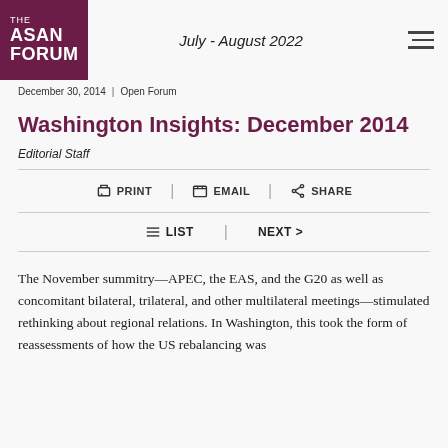THE ASAN FORUM | July - August 2022
December 30, 2014  |  Open Forum
Washington Insights: December 2014
Editorial Staff
PRINT  |  EMAIL  |  SHARE
LIST  |  NEXT >
The November summitry—APEC, the EAS, and the G20 as well as concomitant bilateral, trilateral, and other multilateral meetings—stimulated rethinking about regional relations. In Washington, this took the form of reassessments of how the US rebalancing was